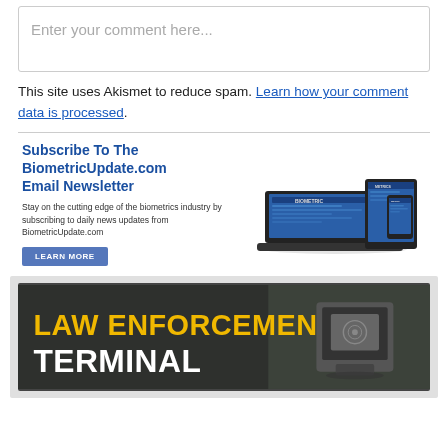Enter your comment here...
This site uses Akismet to reduce spam. Learn how your comment data is processed.
[Figure (infographic): BiometricUpdate.com email newsletter subscription banner with laptop, tablet, and phone showing website, with 'Subscribe To The BiometricUpdate.com Email Newsletter' text, description, and LEARN MORE button.]
[Figure (infographic): Law Enforcement Terminal advertisement banner showing bold text 'LAW ENFORCEMENT TERMINAL' in yellow and white over a dark background with a biometric device image.]